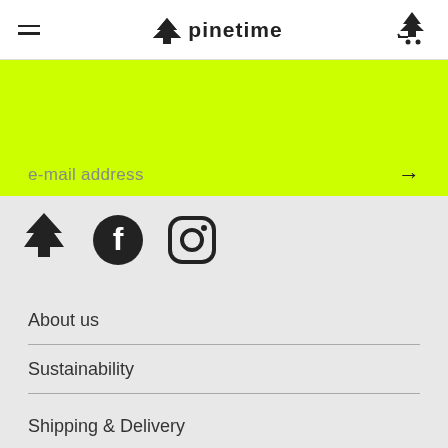pinetime
e-mail address
[Figure (logo): Pine tree logo icon, Facebook icon, Instagram icon]
About us
Sustainability
Shipping & Delivery
Return policy